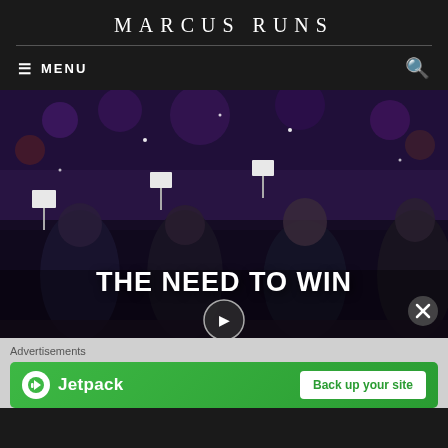MARCUS RUNS
MENU
[Figure (photo): Athletes marching at what appears to be an Olympic opening ceremony, holding small white flags, in a dark stadium with colorful crowd in background. Bold white text overlay reads THE NEED TO WIN.]
THE NEED TO WIN
Advertisements
[Figure (screenshot): Jetpack advertisement banner with green gradient background, Jetpack logo on left, and 'Back up your site' button on right.]